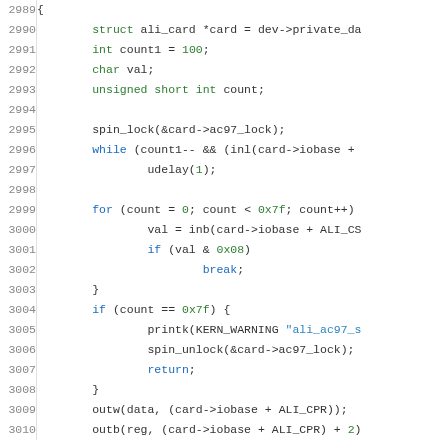[Figure (screenshot): Source code listing showing lines 2989-3010 of C code for an audio card driver. Lines include variable declarations, spin_lock, while loop, for loop, conditionals, printk, spin_unlock, return, outw and outb calls.]